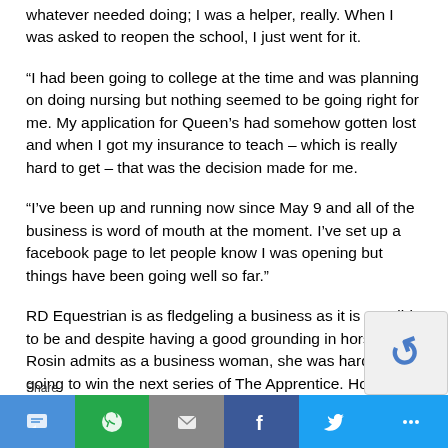whatever needed doing; I was a helper, really. When I was asked to reopen the school, I just went for it.
“I had been going to college at the time and was planning on doing nursing but nothing seemed to be going right for me. My application for Queen’s had somehow gotten lost and when I got my insurance to teach – which is really hard to get – that was the decision made for me.
“I’ve been up and running now since May 9 and all of the business is word of mouth at the moment. I’ve set up a facebook page to let people know I was opening but things have been going well so far.”
RD Equestrian is as fledgeling a business as it is possible to be and despite having a good grounding in horses, Rosin admits as a business woman, she was hardly going to win the next series of The Apprentice. However, the ‘Go For It’ programme in Omagh Enterprise Company c... the rescue and after filling in a lot of the business blank...
Share